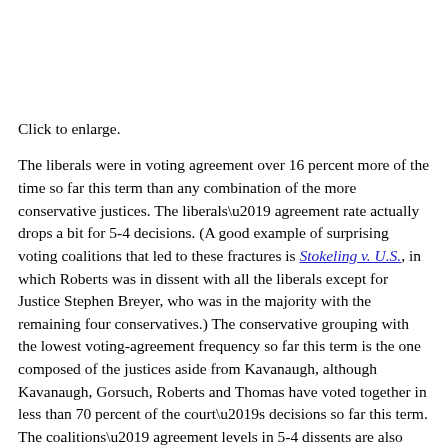Click to enlarge.
The liberals were in voting agreement over 16 percent more of the time so far this term than any combination of the more conservative justices. The liberals’ agreement rate actually drops a bit for 5-4 decisions. (A good example of surprising voting coalitions that led to these fractures is Stokeling v. U.S., in which Roberts was in dissent with all the liberals except for Justice Stephen Breyer, who was in the majority with the remaining four conservatives.) The conservative grouping with the lowest voting-agreement frequency so far this term is the one composed of the justices aside from Kavanaugh, although Kavanaugh, Gorsuch, Roberts and Thomas have voted together in less than 70 percent of the court’s decisions so far this term. The coalitions’ agreement levels in 5-4 dissents are also notable, with 50 percent or four of eight of the dissents coming from the liberal bloc, and 25 percent or two of eight from Kavanaugh, Roberts, Alito and Thomas.